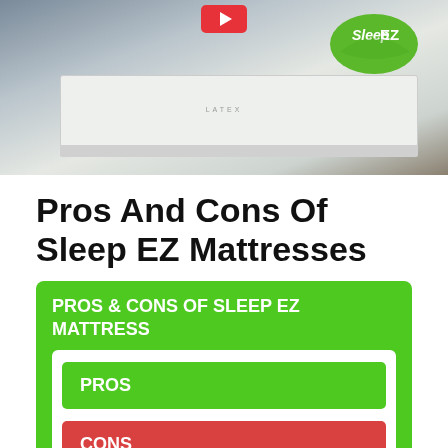[Figure (photo): Photo of two people standing beside a white latex mattress in a showroom with Sleep EZ logo visible on the mattress and a red YouTube play button at the top]
Pros And Cons Of Sleep EZ Mattresses
| PROS & CONS OF SLEEP EZ MATTRESS |
| --- |
| PROS |
| CONS |